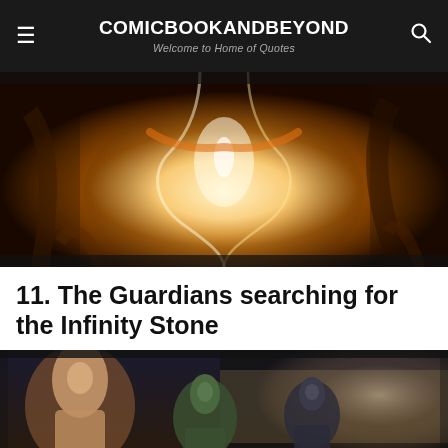COMICBOOKANDBEYOND
Welcome to Home of Quotes
[Figure (photo): Action movie still showing a character being struck by powerful energy beams in a dramatic sci-fi setting with bright lights and machinery]
11. The Guardians searching for the Infinity Stone
[Figure (photo): Movie still showing the Guardians of the Galaxy characters including Star-Lord, Gamora, and others inside a spaceship cockpit]